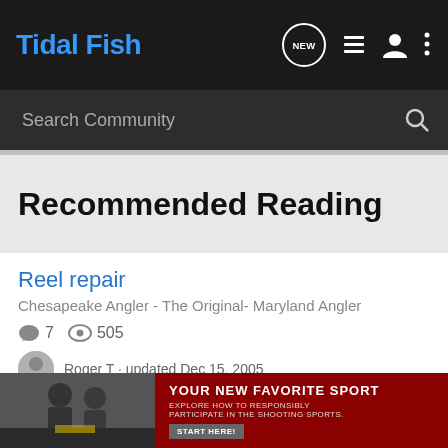Tidal Fish
Search Community
Recommended Reading
Reel repair
Chesapeake Angler - The Original- Maryland Angler
7   505
Roger T · updated Dec 15, 2005
Need some Help   OT - Looking for Mercury/Mariner parts/s…
Chesap…
[Figure (photo): Advertisement banner: YOUR NEW FAVORITE SPORT - EXPLORE HOW TO RESPONSIBLY PARTICIPATE IN THE SHOOTING SPORTS. START HERE!]